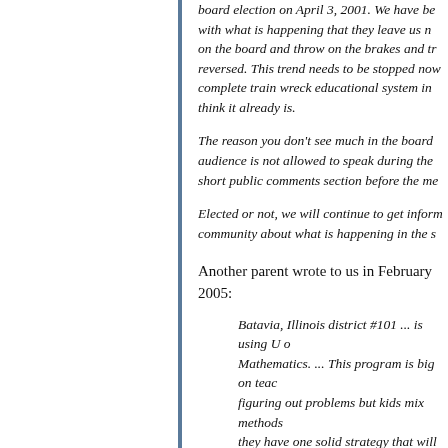board election on April 3, 2001. We have be with what is happening that they leave us n on the board and throw on the brakes and tr reversed. This trend needs to be stopped now complete train wreck educational system in think it already is.
The reason you don't see much in the board audience is not allowed to speak during the short public comments section before the me
Elected or not, we will continue to get inform community about what is happening in the s
Another parent wrote to us in February 2005:
Batavia, Illinois district #101 ... is using U o Mathematics. ... This program is big on teac figuring out problems but kids mix methods they have one solid strategy that will always learn more. I'm all for finding alternate strat aren't getting a traditional method. However methods is ridiculous. ... [W]e are spending for an outside tutoring program. ... At the PT